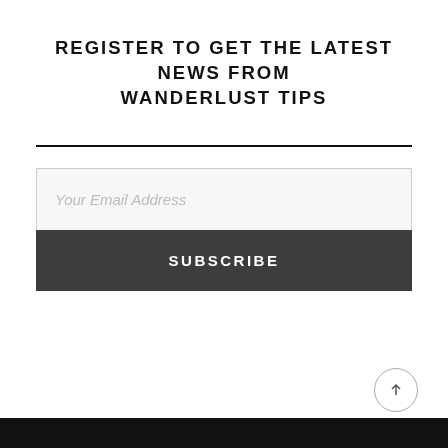REGISTER TO GET THE LATEST NEWS FROM WANDERLUST TIPS
Your Email Address
SUBSCRIBE